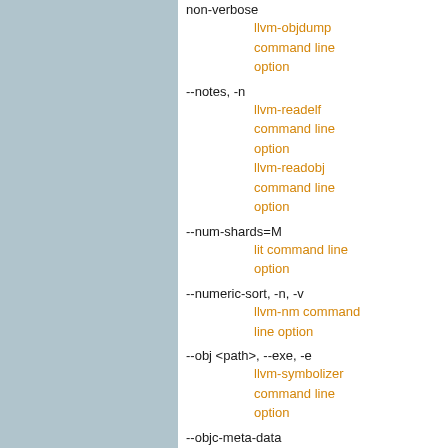non-verbose
llvm-objdump command line option
--notes, -n
llvm-readelf command line option
llvm-readobj command line option
--num-shards=M
lit command line option
--numeric-sort, -n, -v
llvm-nm command line option
--obj <path>, --exe, -e
llvm-symbolizer command line option
--objc-meta-data